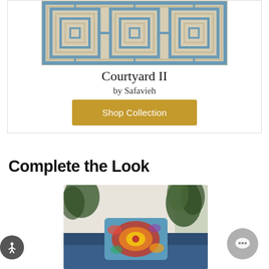[Figure (photo): Courtyard II rug by Safavieh — geometric Greek key pattern in blue/teal and cream/beige tones]
Courtyard II
by Safavieh
Shop Collection
Complete the Look
[Figure (photo): Room scene with a colorful floral/medallion throw pillow on a blue sofa, tropical plants in background]